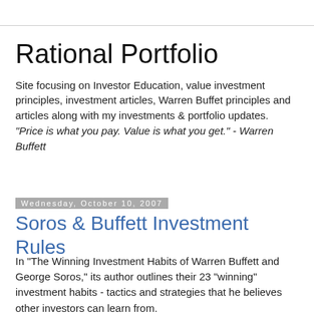Rational Portfolio
Site focusing on Investor Education, value investment principles, investment articles, Warren Buffet principles and articles along with my investments & portfolio updates. "Price is what you pay. Value is what you get." - Warren Buffett
Wednesday, October 10, 2007
Soros & Buffett Investment Rules
In "The Winning Investment Habits of Warren Buffett and George Soros," its author outlines their 23 "winning" investment habits - tactics and strategies that he believes other investors can learn from.